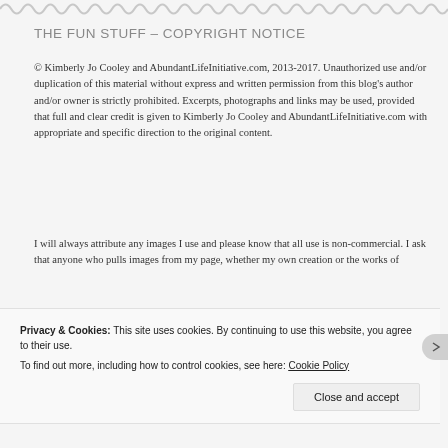THE FUN STUFF – COPYRIGHT NOTICE
© Kimberly Jo Cooley and AbundantLifeInitiative.com, 2013-2017. Unauthorized use and/or duplication of this material without express and written permission from this blog's author and/or owner is strictly prohibited. Excerpts, photographs and links may be used, provided that full and clear credit is given to Kimberly Jo Cooley and AbundantLifeInitiative.com with appropriate and specific direction to the original content.
I will always attribute any images I use and please know that all use is non-commercial. I ask that anyone who pulls images from my page, whether my own creation or the works of
Privacy & Cookies: This site uses cookies. By continuing to use this website, you agree to their use.
To find out more, including how to control cookies, see here: Cookie Policy
Close and accept